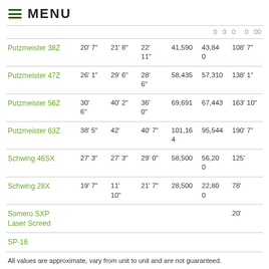MENU
| Model | Col2 | Col3 | Col4 | Col5 | Col6 | Col7 |
| --- | --- | --- | --- | --- | --- | --- |
| Putzmeister 38Z | 20' 7" | 21' 8" | 22' 11" | 41,590 | 43,840 | 108' 7" |
| Putzmeister 47Z | 26' 1" | 29' 6" | 28' 6" | 58,435 | 57,310 | 138' 1" |
| Putzmeister 56Z | 30' 6" | 40' 2" | 36' 0" | 69,691 | 67,443 | 163' 10" |
| Putzmeister 63Z | 38' 5" | 42' | 40' 7" | 101,164 | 95,544 | 190' 7" |
| Schwing 46SX | 27' 3" | 27' 3" | 29' 0" | 58,500 | 56,200 | 125' |
| Schwing 28X | 19' 7" | 11' 10" | 21' 7" | 28,500 | 22,800 | 78' |
| Somero SXP Laser Screed |  |  |  |  |  | 20' |
| SP-16 |  |  |  |  |  |  |
All values are approximate, vary from unit to unit and are not guaranteed.